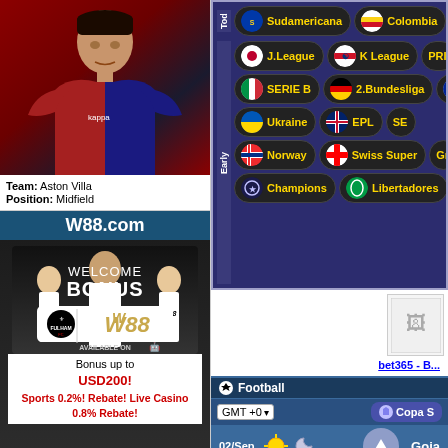[Figure (photo): Football player in Aston Villa burgundy jersey with AVFC badge]
Team: Aston Villa
Position: Midfield
W88.com
[Figure (photo): W88 Welcome Bonus advertisement banner with Fulham players, showing WELCOME BONUS text, Fulham FC and W88 logos, available on Android and iOS]
Bonus up to
USD200!
Sports 0.2%! Rebate! Live Casino 0.8% Rebate!
[Figure (screenshot): Sports betting website league navigation showing Today section with Sudamericana, Colombia, Mexico tabs, and Early section with J.League, K League, PRI, SERIE B, 2.Bundesliga, FRA, Ukraine, EPL, SE, Norway, Swiss Super, Gr, Champions, Libertadores, Japa league buttons with country flags]
[Figure (screenshot): bet365 advertisement image placeholder]
bet365 - B...
[Figure (screenshot): Football section of betting site showing GMT+0 selector, Copa S overlay, 02/Sep date with weather icons and up arrow, Goia text, Colombia P row with Colombian flag]